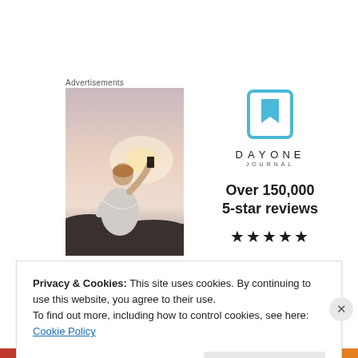Advertisements
[Figure (photo): Person photographing sunset with smartphone, back view, wearing white t-shirt]
[Figure (logo): DayOne Journal advertisement with logo icon, text 'DAYONE JOURNAL', 'Over 150,000 5-star reviews' and five star rating]
Privacy & Cookies: This site uses cookies. By continuing to use this website, you agree to their use.
To find out more, including how to control cookies, see here: Cookie Policy
Close and accept